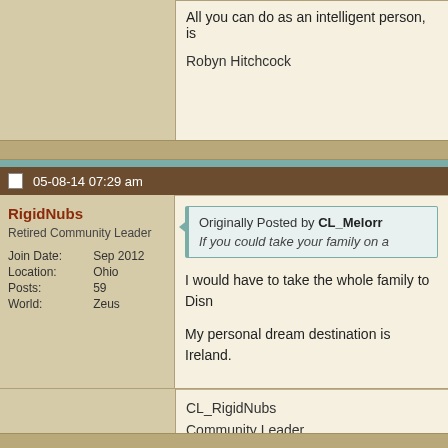All you can do as an intelligent person, is
Robyn Hitchcock
05-08-14 07:29 am
RigidNubs
Retired Community Leader
| Join Date: | Sep 2012 |
| Location: | Ohio |
| Posts: | 59 |
| World: | Zeus |
Originally Posted by CL_Melorr
If you could take your family on a
I would have to take the whole family to Disn
My personal dream destination is Ireland.
CL_RigidNubs
Community Leader
Learn About the Community Leader Prog